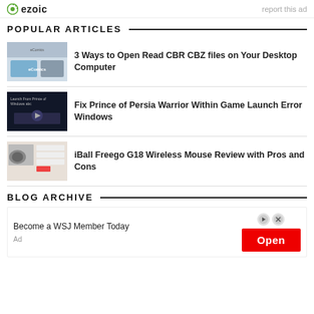[Figure (logo): Ezoic logo with green circular icon and text 'ezoic', with 'report this ad' link on the right]
POPULAR ARTICLES
[Figure (screenshot): Thumbnail for article about opening CBR CBZ files with eComics branding]
3 Ways to Open Read CBR CBZ files on Your Desktop Computer
[Figure (screenshot): Thumbnail for Prince of Persia Warrior Within game screenshot]
Fix Prince of Persia Warrior Within Game Launch Error Windows
[Figure (photo): Thumbnail for iBall Freego G18 wireless mouse product image]
iBall Freego G18 Wireless Mouse Review with Pros and Cons
BLOG ARCHIVE
[Figure (screenshot): Advertisement: Become a WSJ Member Today with red Open button]